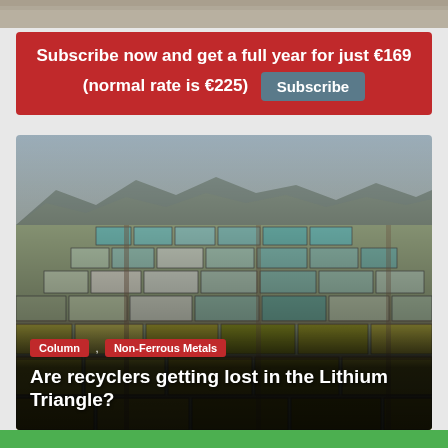[Figure (photo): Partial aerial/landscape photo at the top of the page, muted tones of sky and land.]
Subscribe now and get a full year for just €169 (normal rate is €225)  Subscribe
[Figure (photo): Aerial photo of lithium evaporation ponds in the Lithium Triangle — large grid of rectangular pools in shades of turquoise, green, white, and yellow, with arid mountains in the background.]
Column , Non-Ferrous Metals
Are recyclers getting lost in the Lithium Triangle?
[Figure (photo): Bottom green strip, partial image.]